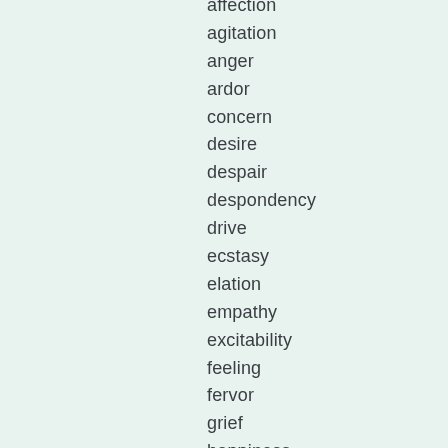affection
agitation
anger
ardor
concern
desire
despair
despondency
drive
ecstasy
elation
empathy
excitability
feeling
fervor
grief
happiness
inspiration